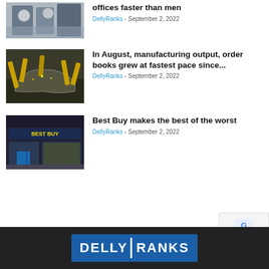[Figure (photo): Partial view of people in a meeting/office setting (top of page, cropped)]
offices faster than men
DellyRanks - September 2, 2022
[Figure (photo): Industrial manufacturing scene with robotic car assembly line]
In August, manufacturing output, order books grew at fastest pace since...
DellyRanks - September 2, 2022
[Figure (photo): Best Buy store exterior at night with illuminated signage]
Best Buy makes the best of the worst
DellyRanks - September 2, 2022
DELLY RANKS